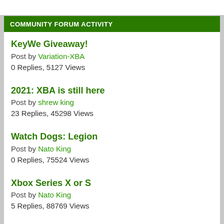COMMUNITY FORUM ACTIVITY
KeyWe Giveaway!
Post by Variation-XBA
0 Replies, 5127 Views
2021: XBA is still here
Post by shrew king
23 Replies, 45298 Views
Watch Dogs: Legion
Post by Nato King
0 Replies, 75524 Views
Xbox Series X or S
Post by Nato King
5 Replies, 88769 Views
Spellbreak Grand Magus Pack (3) and Starter Pack (7) Giveaway!
Post by Variation-XBA